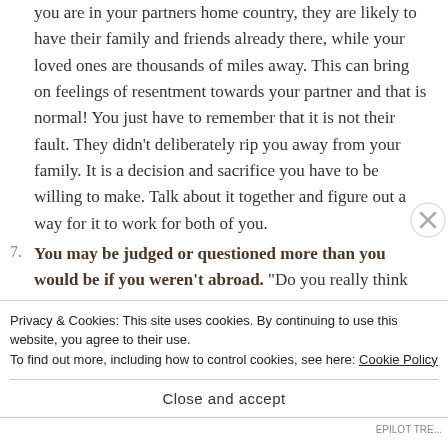you are in your partners home country, they are likely to have their family and friends already there, while your loved ones are thousands of miles away. This can bring on feelings of resentment towards your partner and that is normal! You just have to remember that it is not their fault. They didn't deliberately rip you away from your family. It is a decision and sacrifice you have to be willing to make. Talk about it together and figure out a way for it to work for both of you.
You may be judged or questioned more than you would be if you weren't abroad. "Do you really think this will
Privacy & Cookies: This site uses cookies. By continuing to use this website, you agree to their use.
To find out more, including how to control cookies, see here: Cookie Policy
Close and accept